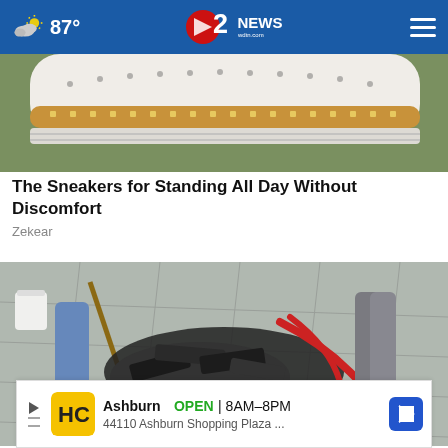87° — 2 NEWS wdtn.com
[Figure (photo): Close-up of bottom of white sneaker with tan/brown sole detail on grass background]
The Sneakers for Standing All Day Without Discomfort
Zekear
[Figure (photo): Workers handling debris or roofing material on a paved surface, outdoor construction scene]
Ashburn  OPEN | 8AM–8PM  44110 Ashburn Shopping Plaza ...